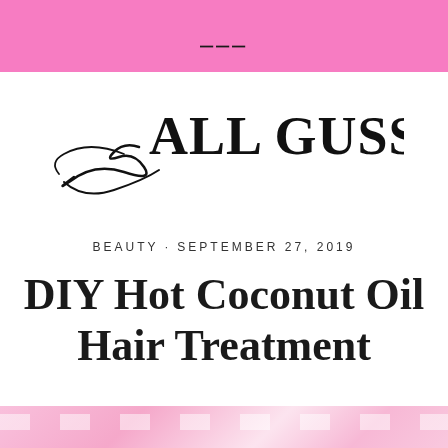≡
[Figure (logo): All Gussied Up blog logo with stylized calligraphic swirl and serif uppercase text]
BEAUTY · SEPTEMBER 27, 2019
DIY Hot Coconut Oil Hair Treatment
[Figure (photo): Pink abstract background image at bottom of page]